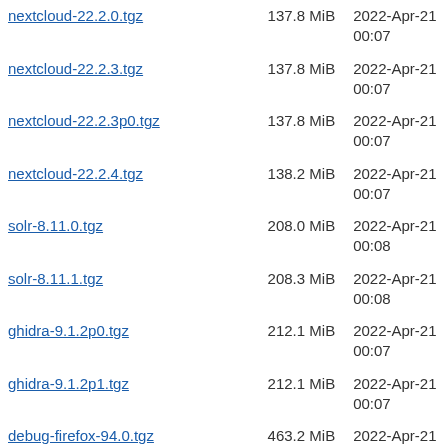| filename | size | date |
| --- | --- | --- |
| nextcloud-22.2.0.tgz | 137.8 MiB | 2022-Apr-21 00:07 |
| nextcloud-22.2.3.tgz | 137.8 MiB | 2022-Apr-21 00:07 |
| nextcloud-22.2.3p0.tgz | 137.8 MiB | 2022-Apr-21 00:07 |
| nextcloud-22.2.4.tgz | 138.2 MiB | 2022-Apr-21 00:07 |
| solr-8.11.0.tgz | 208.0 MiB | 2022-Apr-21 00:08 |
| solr-8.11.1.tgz | 208.3 MiB | 2022-Apr-21 00:08 |
| ghidra-9.1.2p0.tgz | 212.1 MiB | 2022-Apr-21 00:07 |
| ghidra-9.1.2p1.tgz | 212.1 MiB | 2022-Apr-21 00:07 |
| debug-firefox-94.0.tgz | 463.2 MiB | 2022-Apr-21 00:05 |
| debug-firefox-94.0.2p0.tgz | 463.3 MiB | 2022-Apr-21 00:05 |
| debug-firefox-94.0.2.tgz | 463.3 MiB | 2022-Apr-21 00:05 |
| debug-firefox-esr-91.5.0.tgz | 463.7 MiB | 2022-Apr-21 00:05 |